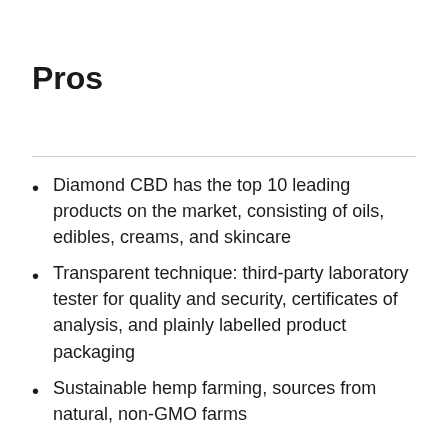Pros
Diamond CBD has the top 10 leading products on the market, consisting of oils, edibles, creams, and skincare
Transparent technique: third-party laboratory tester for quality and security, certificates of analysis, and plainly labelled product packaging
Sustainable hemp farming, sources from natural, non-GMO farms